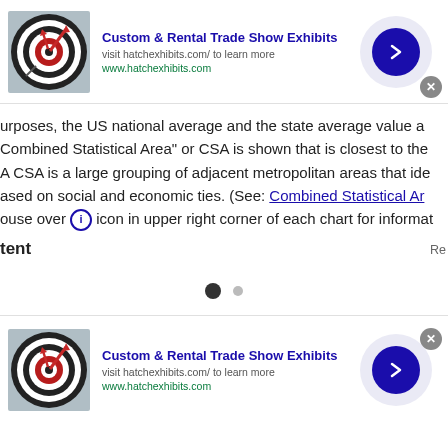[Figure (other): Advertisement banner: Custom & Rental Trade Show Exhibits with dartboard image, visit hatchexhibits.com/ to learn more, www.hatchexhibits.com, blue arrow button on right]
urposes, the US national average and the state average value a Combined Statistical Area" or CSA is shown that is closest to the A CSA is a large grouping of adjacent metropolitan areas that ide ased on social and economic ties. (See: Combined Statistical Ar ouse over icon in upper right corner of each chart for informat
tent
[Figure (other): Pagination dots: one filled dark circle and one smaller gray circle]
[Figure (other): Advertisement banner (second): Custom & Rental Trade Show Exhibits with dartboard image, visit hatchexhibits.com/ to learn more, www.hatchexhibits.com, blue arrow button on right, with X close button]